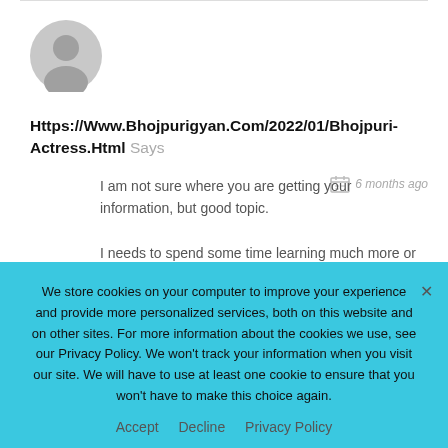[Figure (illustration): Gray default user avatar circle icon]
Https://Www.Bhojpurigyan.Com/2022/01/Bhojpuri-Actress.Html Says
I am not sure where you are getting your information, but good topic.
I needs to spend some time learning much more or understanding more. Thanks for fantastic
6 months ago
We store cookies on your computer to improve your experience and provide more personalized services, both on this website and on other sites. For more information about the cookies we use, see our Privacy Policy. We won't track your information when you visit our site. We will have to use at least one cookie to ensure that you won't have to make this choice again.
Accept   Decline   Privacy Policy